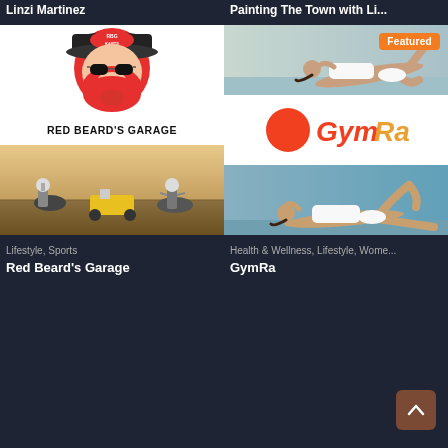Linzi Martinez
Painting The Town with Li...
[Figure (photo): Red Beard's Garage card: logo of a cartoon red-bearded man in sunglasses wearing an RBG KARTS cap, text 'RED BEARD'S GARAGE', and a photo of people on off-road vehicles in a field]
Lifestyle, Sports
Red Beard's Garage
[Figure (photo): GymRa card with 'Featured' badge: three images - woman exercising on poolside, GymRa logo (orange circle + GymRa text), woman doing leg raise exercise]
Health & Wellness, Lifestyle, Wome...
GymRa